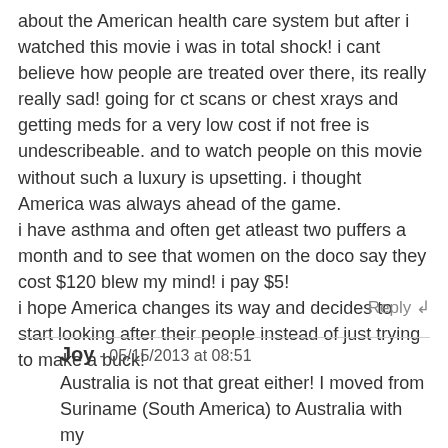about the American health care system but after i watched this movie i was in total shock! i cant believe how people are treated over there, its really really sad! going for ct scans or chest xrays and getting meds for a very low cost if not free is undescribeable. and to watch people on this movie without such a luxury is upsetting. i thought America was always ahead of the game.
i have asthma and often get atleast two puffers a month and to see that women on the doco say they cost $120 blew my mind! i pay $5!
i hope America changes its way and decides to start looking after their people instead of just trying to make a buck!
Reply ↲
Joy - 05/15/2013 at 08:51
Australia is not that great either! I moved from Suriname (South America) to Australia with my